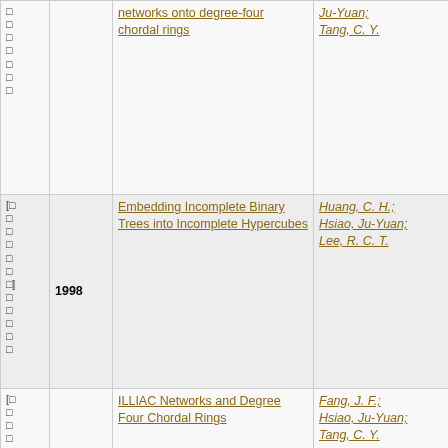| Ref | Year | Title | Authors |
| --- | --- | --- | --- |
| [...] | 1998 | networks onto degree-four chordal rings | Ju-Yuan; Tang, C. Y. |
| [...] | 1998 | Embedding Incomplete Binary Trees into Incomplete Hypercubes | Huang, C. H.; Hsiao, Ju-Yuan; Lee, R. C. T. |
| [...] | 1998 | ILLIAC Networks and Degree Four Chordal Rings | Fang, J. F.; Hsiao, Ju-Yuan; Tang, C. Y. |
| [...] |  | Single step... | Hsiao, Ju-Yuan; |